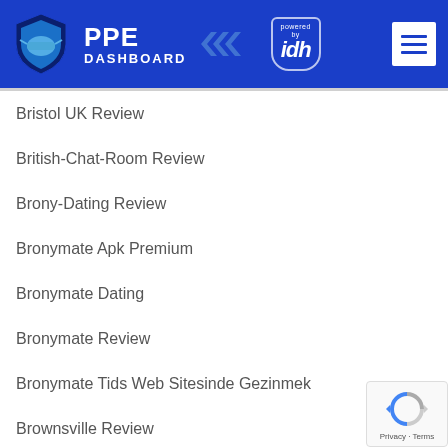[Figure (logo): PPE Dashboard powered by IDH logo with shield icon on blue header background]
Bristol UK Review
British-Chat-Room Review
Brony-Dating Review
Bronymate Apk Premium
Bronymate Dating
Bronymate Review
Bronymate Tids Web Sitesinde Gezinmek
Brownsville Review